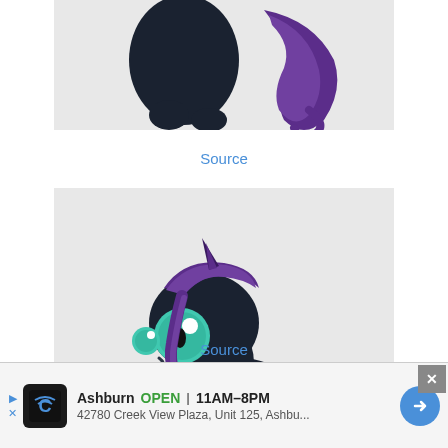[Figure (illustration): Partial view of a dark-colored cartoon pony character with purple mane/tail, cropped to show only lower body and tail from behind, on a light gray background]
Source
[Figure (illustration): A dark/black colored cartoon alicorn pony (unicorn-pegasus) with large teal eyes, purple mane and tail, small wings, and a dark horn. Standing in a cute pose on a light gray background.]
Source
Ashburn  OPEN  11AM–8PM  42780 Creek View Plaza, Unit 125, Ashbu...